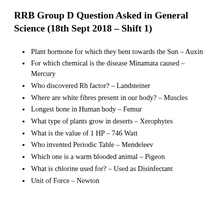RRB Group D Question Asked in General Science (18th Sept 2018 – Shift 1)
Plant hormone for which they bent towards the Sun – Auxin
For which chemical is the disease Minamata caused – Mercury
Who discovered Rh factor? – Landsteiner
Where are white fibres present in our body? – Muscles
Longest bone in Human body – Femur
What type of plants grow in deserts – Xerophytes
What is the value of 1 HP – 746 Watt
Who invented Periodic Table – Mendeleev
Which one is a warm blooded animal – Pigeon
What is chlorine used for? – Used as Disinfectant
Unit of Force – Newton